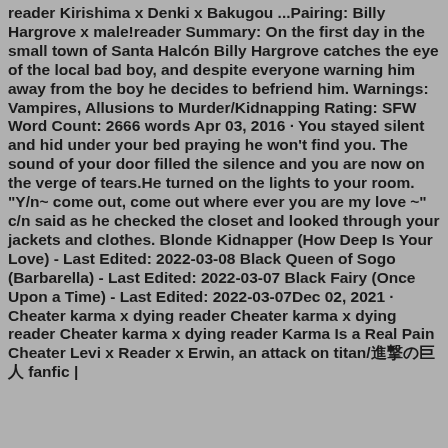reader Kirishima x Denki x Bakugou ...Pairing: Billy Hargrove x male!reader Summary: On the first day in the small town of Santa Halcón Billy Hargrove catches the eye of the local bad boy, and despite everyone warning him away from the boy he decides to befriend him. Warnings: Vampires, Allusions to Murder/Kidnapping Rating: SFW Word Count: 2666 words Apr 03, 2016 · You stayed silent and hid under your bed praying he won't find you. The sound of your door filled the silence and you are now on the verge of tears.He turned on the lights to your room. "Y/n~ come out, come out where ever you are my love ~" c/n said as he checked the closet and looked through your jackets and clothes. Blonde Kidnapper (How Deep Is Your Love) - Last Edited: 2022-03-08 Black Queen of Sogo (Barbarella) - Last Edited: 2022-03-07 Black Fairy (Once Upon a Time) - Last Edited: 2022-03-07Dec 02, 2021 · Cheater karma x dying reader Cheater karma x dying reader Cheater karma x dying reader Karma Is a Real Pain Cheater Levi x Reader x Erwin, an attack on titan/進撃の巨人 fanfic |